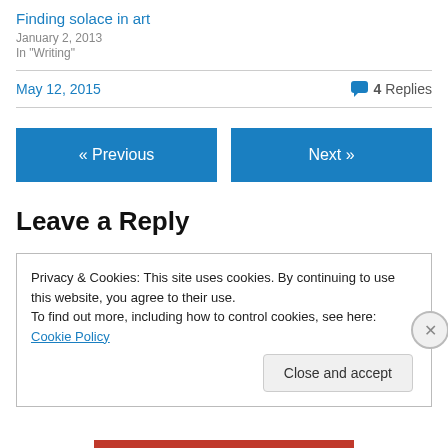Finding solace in art
January 2, 2013
In "Writing"
May 12, 2015   💬 4 Replies
« Previous
Next »
Leave a Reply
Privacy & Cookies: This site uses cookies. By continuing to use this website, you agree to their use.
To find out more, including how to control cookies, see here: Cookie Policy
Close and accept